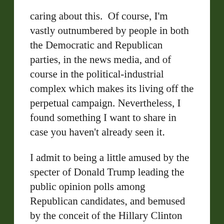caring about this. Of course, I'm vastly outnumbered by people in both the Democratic and Republican parties, in the news media, and of course in the political-industrial complex which makes its living off the perpetual campaign. Nevertheless, I found something I want to share in case you haven't already seen it.
I admit to being a little amused by the specter of Donald Trump leading the public opinion polls among Republican candidates, and bemused by the conceit of the Hillary Clinton camp that the nomination is hers because...well, because Hillary. As a government contractor employee I'm far more interested right now in whether or not the do-nothing Congress can pass a simple budget resolution and keep the doors open, and at last report that seems a pretty good bet. If it doesn't happen, though, the most likely reason will be that